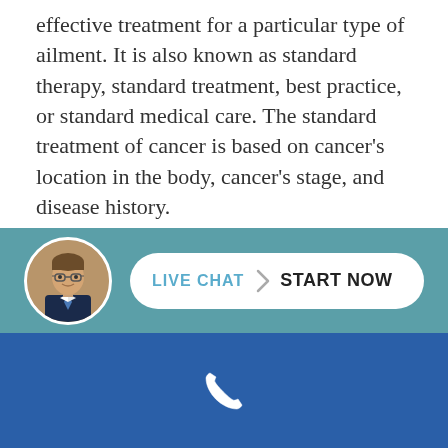effective treatment for a particular type of ailment. It is also known as standard therapy, standard treatment, best practice, or standard medical care. The standard treatment of cancer is based on cancer's location in the body, cancer's stage, and disease history.
When a doctor fails to provide a patient with an acceptable standard of care, they are liable for negligence. In determining the dereliction of duty, a jury will compare the omissions or actions of a medical professional with those of another medical expert with the same...
[Figure (infographic): Live chat bar with circular avatar of a man in a suit and a white pill-shaped button reading LIVE CHAT > START NOW on a teal background]
[Figure (infographic): Blue footer bar with a white phone/call icon in the center]